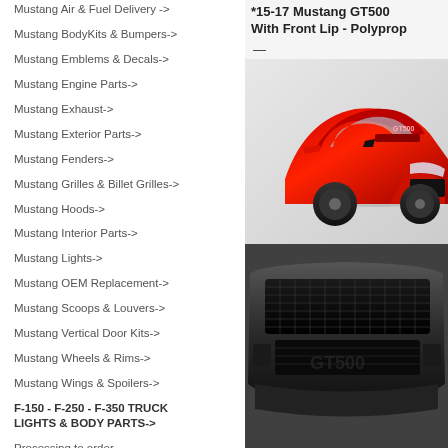Mustang Air & Fuel Delivery->
Mustang BodyKits & Bumpers->
Mustang Emblems & Decals->
Mustang Engine Parts->
Mustang Exhaust->
Mustang Exterior Parts->
Mustang Fenders->
Mustang Grilles & Billet Grilles->
Mustang Hoods->
Mustang Interior Parts->
Mustang Lights->
Mustang OEM Replacement->
Mustang Scoops & Louvers->
Mustang Vertical Door Kits->
Mustang Wheels & Rims->
Mustang Wings & Spoilers->
F-150 - F-250 - F-350 TRUCK LIGHTS & BODY PARTS->
Processing to order
*15-17 Mustang GT500 With Front Lip - Polyprop
[Figure (photo): Red Mustang GT500 sports car with wide body kit and large wheels, front 3/4 view]
[Figure (photo): Dark gray/black Mustang GT500 front bumper with front lip, isolated product shot]